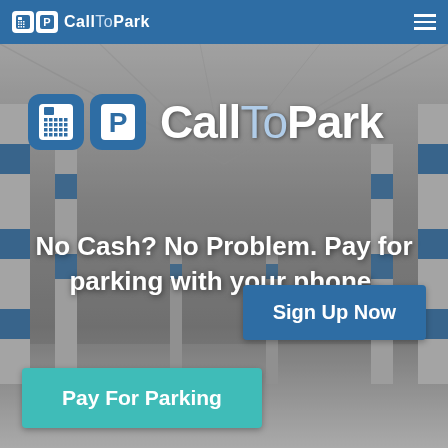CallToPark navigation bar with logo and hamburger menu
[Figure (screenshot): Mobile app screenshot showing CallToPark parking payment app. Background is a blurred parking garage interior with concrete pillars striped blue and white. Large CallToPark logo with phone and parking icons. Tagline reads 'No Cash? No Problem. Pay for parking with your phone.' Blue 'Sign Up Now' button bottom right. Teal 'Pay For Parking' button bottom left.]
CallToPark
No Cash? No Problem. Pay for parking with your phone.
Sign Up Now
Pay For Parking